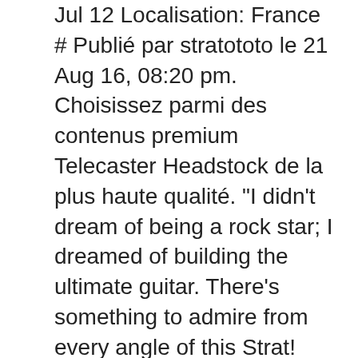Jul 12 Localisation: France # Publié par stratototo le 21 Aug 16, 08:20 pm. Choisissez parmi des contenus premium Telecaster Headstock de la plus haute qualité. "I didn't dream of being a rock star; I dreamed of building the ultimate guitar. There's something to admire from every angle of this Strat! "Ever since I can remember, I've always loved guitars," he said. J'y pensais à l'instant (en jetant un oeil aux autres JC de Mars'Guitar) Source. A Fender Custom Shop Masterbuilt Dale Wilson 62 Stratocaster Ultra Relic electric guitar, taken on November 19, 2019. Dale Wilson has been producing Relic's lately that … Former Pixar and Disney artist Chris Schnabel imagined this guitar